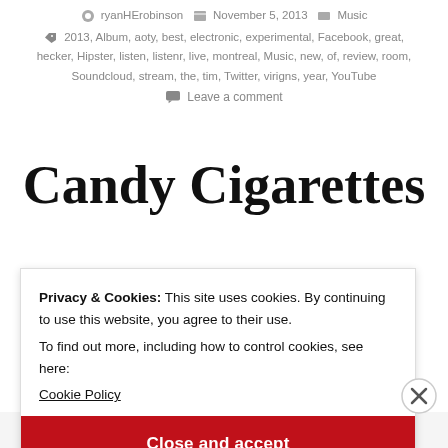ryanHErobinson   November 5, 2013   Music
2013, Album, aoty, best, electronic, experimental, Facebook, great, hecker, Hipster, listen, listenr, live, montreal, Music, new, of, review, room, Soundcloud, stream, the, tim, Twitter, virigns, year, YouTube
Leave a comment
Candy Cigarettes
Privacy & Cookies: This site uses cookies. By continuing to use this website, you agree to their use.
To find out more, including how to control cookies, see here:
Cookie Policy
Close and accept